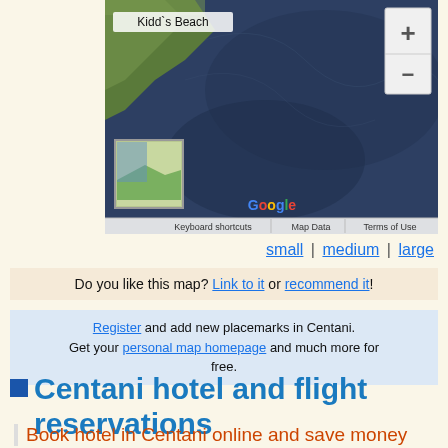[Figure (map): Google Maps satellite view showing Kidd's Beach area in South Africa, with map controls (+ and -), a thumbnail inset map, Google logo, and footer links: Keyboard shortcuts, Map Data, Terms of Use]
small | medium | large
Do you like this map? Link to it or recommend it!
Register and add new placemarks in Centani. Get your personal map homepage and much more for free.
Centani hotel and flight reservations
Book hotel in Centani online and save money